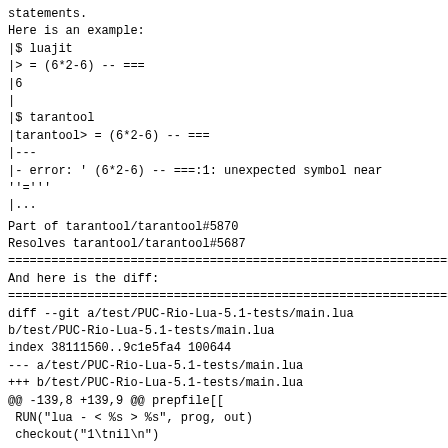statements.
Here is an example:
|$ luajit
|> = (6*2-6) -- ===
|6
|
|$ tarantool
|tarantool> = (6*2-6) -- ===
|---
|- error: ' (6*2-6) -- ===:1: unexpected symbol near
''='''
|...
Part of tarantool/tarantool#5870
Resolves tarantool/tarantool#5687
================================================================
And here is the diff:
================================================================
diff --git a/test/PUC-Rio-Lua-5.1-tests/main.lua
b/test/PUC-Rio-Lua-5.1-tests/main.lua
index 38111560..9c1e5fa4 100644
--- a/test/PUC-Rio-Lua-5.1-tests/main.lua
+++ b/test/PUC-Rio-Lua-5.1-tests/main.lua
@@ -139,8 +139,9 @@ prepfile[[
 RUN("lua - < %s > %s", prog, out)
 checkout("1\tnil\n")

--- FIXME: The following chunk is disabled for
Tarantool since its interactive